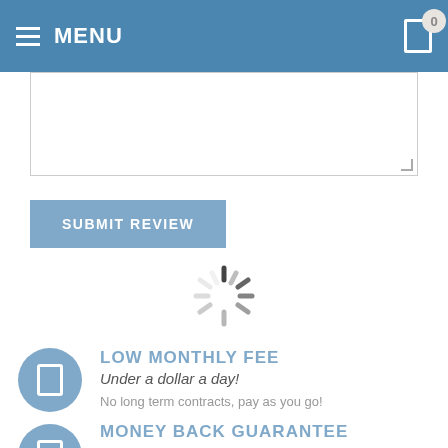MENU
[Figure (screenshot): Text input area (textarea) with resize handle in bottom-right corner]
SUBMIT REVIEW
[Figure (other): Loading spinner graphic (circular dashed spinner)]
LOW MONTHLY FEE
Under a dollar a day!
No long term contracts, pay as you go!
MONEY BACK GUARANTEE
30 days money back guarantee!
Money back guarantee with a no questions asked policy